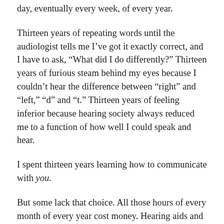day, eventually every week, of every year.
Thirteen years of repeating words until the audiologist tells me I've got it exactly correct, and I have to ask, “What did I do differently?” Thirteen years of furious steam behind my eyes because I couldn’t hear the difference between “right” and “left,” “d” and “t.” Thirteen years of feeling inferior because hearing society always reduced me to a function of how well I could speak and hear.
I spent thirteen years learning how to communicate with you.
But some lack that choice. All those hours of every month of every year cost money. Hearing aids and cochlear implants cost money. Interpreters and transcriptionists cost money. Yet people with disabilities are ½–⅔ less likely to be employed (pp. 61, 69) and, once they are, they are...